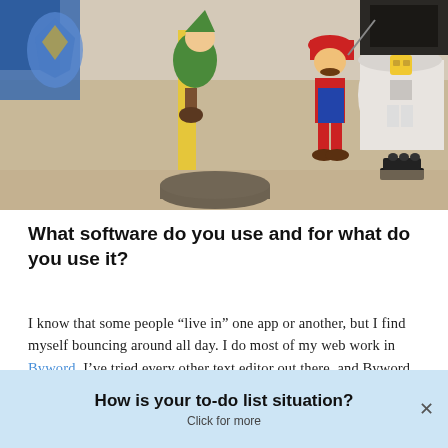[Figure (photo): Photo of Nintendo amiibo figurines (Link) and Mario, plus a LEGO minifigure on a wooden desk surface. Blue and other objects visible in background.]
What software do you use and for what do you use it?
I know that some people “live in” one app or another, but I find myself bouncing around all day. I do most of my web work in Byword. I’ve tried every other text editor out there, and Byword fits my needs the best. I also have to do some
How is your to-do list situation?
Click for more